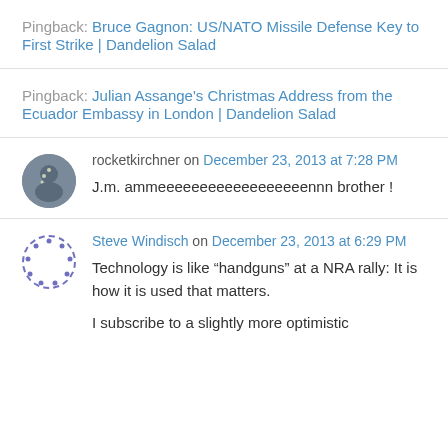Pingback: Bruce Gagnon: US/NATO Missile Defense Key to First Strike | Dandelion Salad
Pingback: Julian Assange's Christmas Address from the Ecuador Embassy in London | Dandelion Salad
rocketkirchner on December 23, 2013 at 7:28 PM
J.m. ammeeeeeeeeeeeeeeeeeennn brother !
Steve Windisch on December 23, 2013 at 6:29 PM
Technology is like “handguns” at a NRA rally: It is how it is used that matters.
I subscribe to a slightly more optimistic